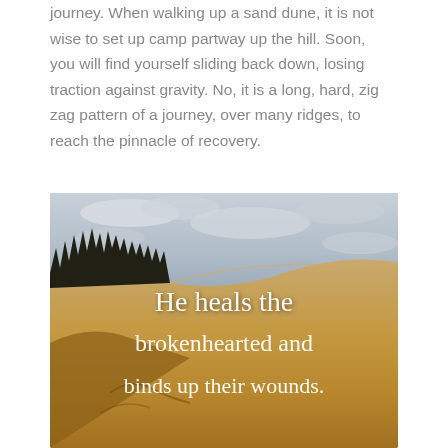journey. When walking up a sand dune, it is not wise to set up camp partway up the hill. Soon, you will find yourself sliding back down, losing traction against gravity. No, it is a long, hard, zig zag pattern of a journey, over many ridges, to reach the pinnacle of recovery.
[Figure (photo): Photo of sand dunes with a tree line in the background and a cloudy sky. Overlaid with white handwritten-style text: 'He heals the brokenhearted and binds up their wounds.']